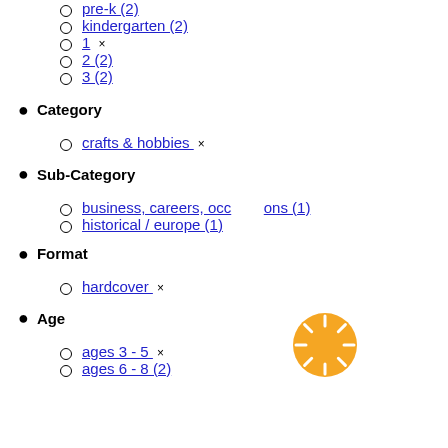pre-k (2)
kindergarten (2)
1 ×
2 (2)
3 (2)
Category
crafts & hobbies ×
Sub-Category
business, careers, occupations (1)
historical / europe (1)
Format
hardcover ×
Age
ages 3 - 5 ×
ages 6 - 8 (2)